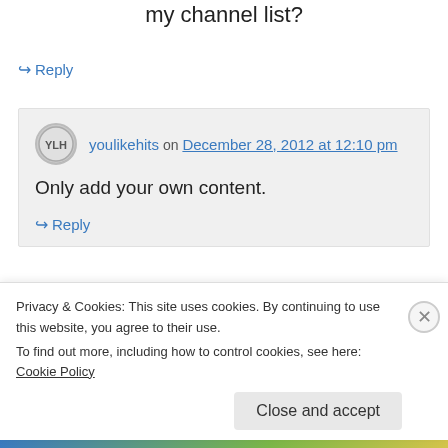my channel list?
↪ Reply
youlikehits on December 28, 2012 at 12:10 pm
Only add your own content.
↪ Reply
Privacy & Cookies: This site uses cookies. By continuing to use this website, you agree to their use.
To find out more, including how to control cookies, see here: Cookie Policy
Close and accept